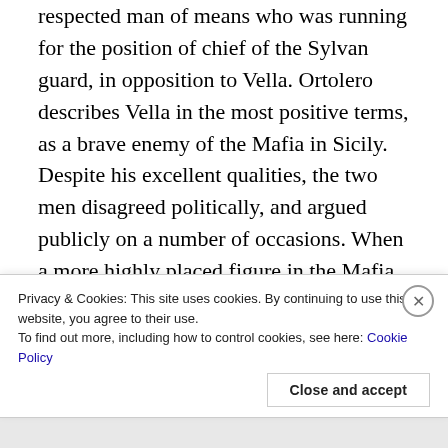respected man of means who was running for the position of chief of the Sylvan guard, in opposition to Vella. Ortolero describes Vella in the most positive terms, as a brave enemy of the Mafia in Sicily. Despite his excellent qualities, the two men disagreed politically, and argued publicly on a number of occasions. When a more highly placed figure in the Mafia ordered Vella’s murder, Morello and an accomplice carried out the assassination. Through a combination of public corruption and circumstantial evidence, Ortolero claims his father was found guilty and sentenced to prison for the
Privacy & Cookies: This site uses cookies. By continuing to use this website, you agree to their use.
To find out more, including how to control cookies, see here: Cookie Policy
Close and accept